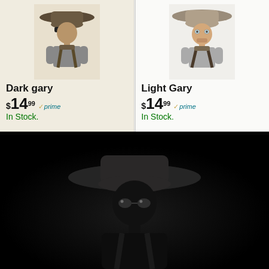[Figure (photo): Two Amazon product listings side by side on a beige/cream background. Left: 'Dark gary' man with wide-brim hat, sunglasses, backpack, gray shirt. Right: 'Light Gary' man with wide-brim hat, backpack, gray shirt in brighter image.]
Dark gary
$14.99 ✓prime
In Stock.
Light Gary
$14.99 ✓prime
In Stock.
[Figure (photo): Dark, nearly black background with a figure wearing a wide-brim hat and sunglasses, barely visible, very dark and moody — appears to be a very dark version of 'Gary'.]